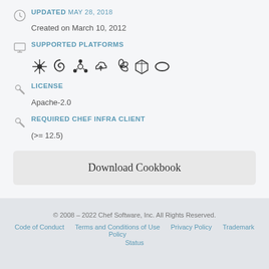UPDATED MAY 28, 2018
Created on March 10, 2012
SUPPORTED PLATFORMS
[Figure (illustration): Platform icons: seven OS/platform logos including what appear to be FreeBSD, Debian, Ubuntu, a cloud service, Gentoo, a box/package, and an oval/Oracle logo]
LICENSE
Apache-2.0
REQUIRED CHEF INFRA CLIENT
(>= 12.5)
Download Cookbook
© 2008 – 2022 Chef Software, Inc. All Rights Reserved.
Code of Conduct   Terms and Conditions of Use Policy   Privacy Policy   Trademark   Status